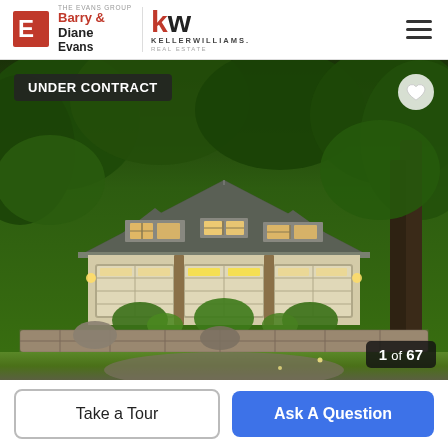The Evans Group — Barry & Diane Evans — Keller Williams Real Estate
[Figure (photo): Exterior photo of a large carriage-house style home with three dormers, triple garage doors with warm lighting, stone retaining walls, and lush green wooded surroundings at dusk. Badge reads 'UNDER CONTRACT'. Counter reads '1 of 67'.]
UNDER CONTRACT
1 of 67
Take a Tour
Ask A Question